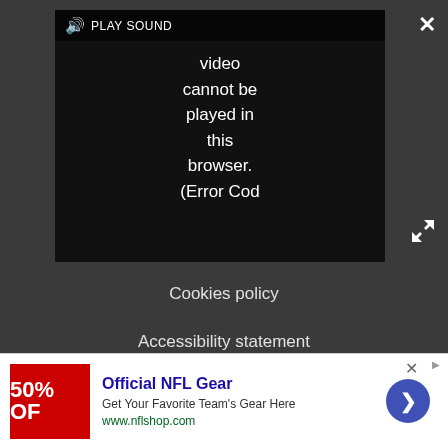[Figure (screenshot): Video player showing error message: 'video cannot be played in this browser. (Error Cod' with PLAY SOUND button and close/expand controls]
Cookies policy
Accessibility statement
Careers
Do not sell my info
© Future Publishing Limited Quay House, The Ambury, Bath
[Figure (screenshot): Advertisement banner: Official NFL Gear - Get Your Favorite Team's Gear Here - www.nflshop.com with 50% OFF red image and navigation arrow]